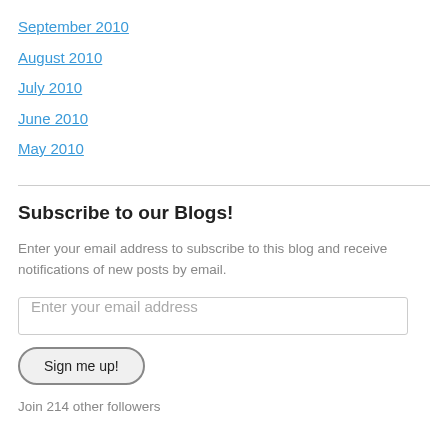September 2010
August 2010
July 2010
June 2010
May 2010
Subscribe to our Blogs!
Enter your email address to subscribe to this blog and receive notifications of new posts by email.
Enter your email address
Sign me up!
Join 214 other followers